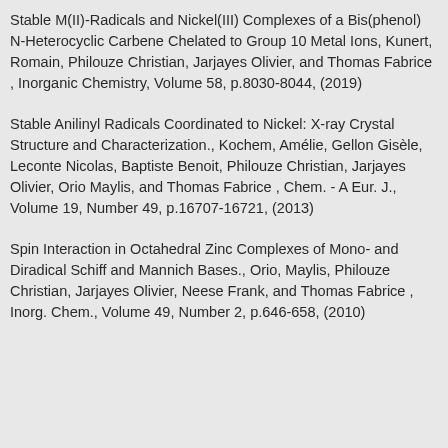Stable M(II)-Radicals and Nickel(III) Complexes of a Bis(phenol) N-Heterocyclic Carbene Chelated to Group 10 Metal Ions, Kunert, Romain, Philouze Christian, Jarjayes Olivier, and Thomas Fabrice , Inorganic Chemistry, Volume 58, p.8030-8044, (2019)
Stable Anilinyl Radicals Coordinated to Nickel: X-ray Crystal Structure and Characterization., Kochem, Amélie, Gellon Gisèle, Leconte Nicolas, Baptiste Benoit, Philouze Christian, Jarjayes Olivier, Orio Maylis, and Thomas Fabrice , Chem. - A Eur. J., Volume 19, Number 49, p.16707-16721, (2013)
Spin Interaction in Octahedral Zinc Complexes of Mono- and Diradical Schiff and Mannich Bases., Orio, Maylis, Philouze Christian, Jarjayes Olivier, Neese Frank, and Thomas Fabrice , Inorg. Chem., Volume 49, Number 2, p.646-658, (2010)